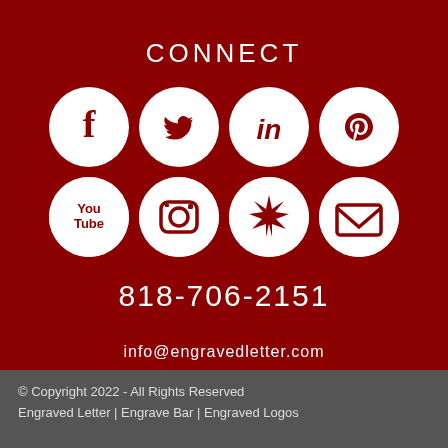CONNECT
[Figure (infographic): Eight social media icon circles in two rows on dark red background: Facebook, Twitter, LinkedIn, Pinterest (top row); YouTube, Instagram, Yelp, Email (bottom row). All icons are white circles with dark red symbols.]
818-706-2151
info@engravedletter.com
© Copyright 2022 - All Rights Reserved
Engraved Letter | Engrave Bar | Engraved Logos